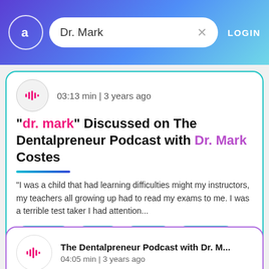Dr. Mark | LOGIN
03:13 min | 3 years ago
"dr. mark" Discussed on The Dentalpreneur Podcast with Dr. Mark Costes
"I was a child that had learning difficulties might my instructors, my teachers all growing up had to read my exams to me. I was a terrible test taker I had attention...
executive
Roach
Reseda
San Diego
The Dentalpreneur Podcast with Dr. M...
04:05 min | 3 years ago